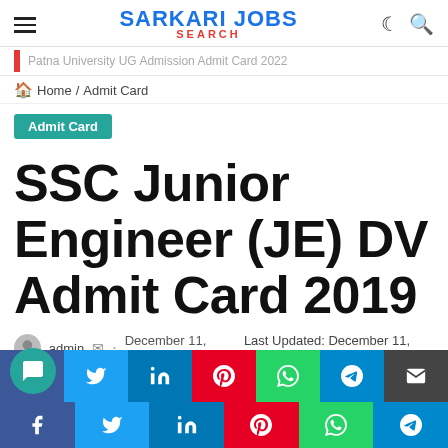SARKARI JOBS SEARCH
Patna University UG Admission Admit Card 2022
Home / Admit Card
Admit Card
SSC Junior Engineer (JE) DV Admit Card 2019
admin · December 11, 2021 Last Updated: December 11, 2021
0  4  2 minutes read